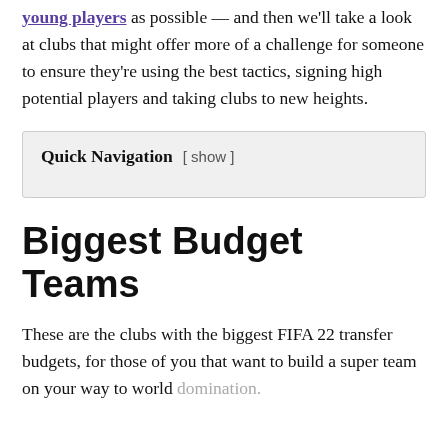young players as possible — and then we'll take a look at clubs that might offer more of a challenge for someone to ensure they're using the best tactics, signing high potential players and taking clubs to new heights.
Quick Navigation [ show ]
Biggest Budget Teams
These are the clubs with the biggest FIFA 22 transfer budgets, for those of you that want to build a super team on your way to world domination.